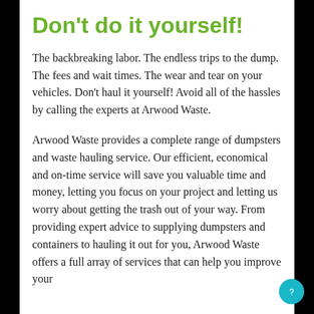Don't do it yourself!
The backbreaking labor. The endless trips to the dump. The fees and wait times. The wear and tear on your vehicles. Don't haul it yourself! Avoid all of the hassles by calling the experts at Arwood Waste.
Arwood Waste provides a complete range of dumpsters and waste hauling service. Our efficient, economical and on-time service will save you valuable time and money, letting you focus on your project and letting us worry about getting the trash out of your way. From providing expert advice to supplying dumpsters and containers to hauling it out for you, Arwood Waste offers a full array of services that can help you improve your